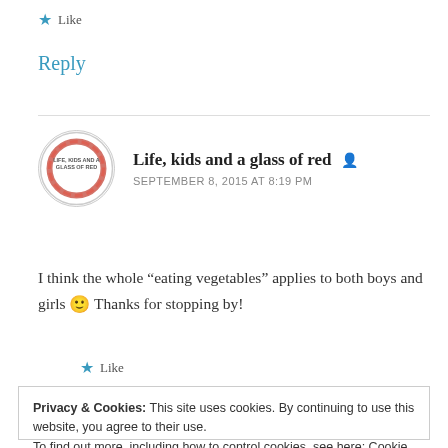★ Like
Reply
Life, kids and a glass of red 👤
SEPTEMBER 8, 2015 AT 8:19 PM
I think the whole "eating vegetables" applies to both boys and girls 🙂 Thanks for stopping by!
★ Like
Privacy & Cookies: This site uses cookies. By continuing to use this website, you agree to their use.
To find out more, including how to control cookies, see here: Cookie Policy
Close and accept